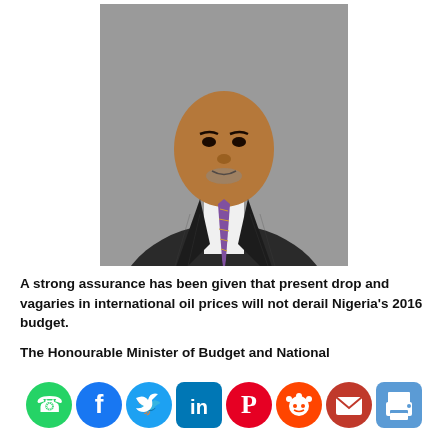[Figure (photo): Headshot of a man in a dark pinstripe suit with a patterned tie, against a grey background. He appears to be a Nigerian government official.]
A strong assurance has been given that present drop and vagaries in international oil prices will not derail Nigeria's 2016 budget.
The Honourable Minister of Budget and National
[Figure (infographic): Social media sharing icons row: WhatsApp, Facebook, Twitter, LinkedIn, Pinterest, Reddit, Email, Print]